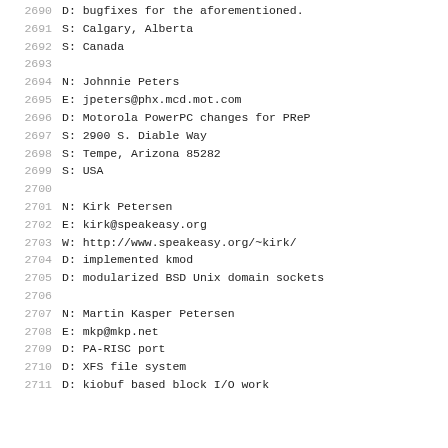2690  D: bugfixes for the aforementioned.
2691  S: Calgary, Alberta
2692  S: Canada
2693
2694  N: Johnnie Peters
2695  E: jpeters@phx.mcd.mot.com
2696  D: Motorola PowerPC changes for PReP
2697  S: 2900 S. Diable Way
2698  S: Tempe, Arizona 85282
2699  S: USA
2700
2701  N: Kirk Petersen
2702  E: kirk@speakeasy.org
2703  W: http://www.speakeasy.org/~kirk/
2704  D: implemented kmod
2705  D: modularized BSD Unix domain sockets
2706
2707  N: Martin Kasper Petersen
2708  E: mkp@mkp.net
2709  D: PA-RISC port
2710  D: XFS file system
2711  D: kiobuf based block I/O work